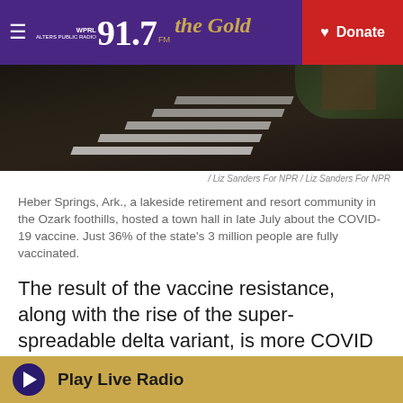WPRL 91.7 The Gold — Donate
[Figure (photo): Aerial or street-level photo of a crosswalk on a dark road surface, blurred motion effect]
/ Liz Sanders For NPR / Liz Sanders For NPR
Heber Springs, Ark., a lakeside retirement and resort community in the Ozark foothills, hosted a town hall in late July about the COVID-19 vaccine. Just 36% of the state's 3 million people are fully vaccinated.
The result of the vaccine resistance, along with the rise of the super-spreadable delta variant, is more COVID cases and more preventable deaths. Hospitals in Arkansas are again reaching critical capacity, and staff are exhausted.
Kellehrew wore a mask with Dr. Anthony Fauci,
Play Live Radio